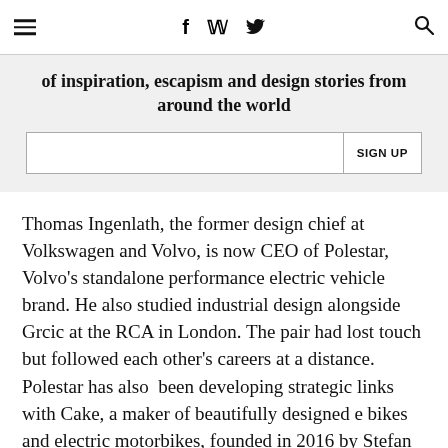☰  f  𝕏  🔍
of inspiration, escapism and design stories from around the world
SIGN UP
Thomas Ingenlath, the former design chief at Volkswagen and Volvo, is now CEO of Polestar, Volvo's standalone performance electric vehicle brand. He also studied industrial design alongside Grcic at the RCA in London. The pair had lost touch but followed each other's careers at a distance. Polestar has also  been developing strategic links with Cake, a maker of beautifully designed e bikes and electric motorbikes, founded in 2016 by Stefan Ytterborn and, like Polestar,